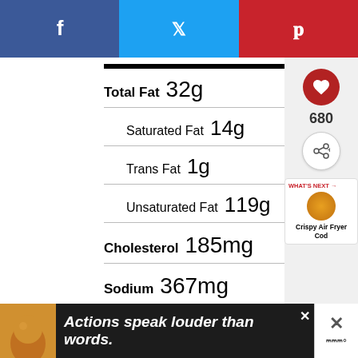[Figure (other): Social sharing bar with Facebook (blue), Twitter (light blue), and Pinterest (red) buttons]
Total Fat 32g
Saturated Fat 14g
Trans Fat 1g
Unsaturated Fat 119g
Cholesterol 185mg
Sodium 367mg
Carbohydrates 29g
Fiber 6g
Sugar 7g
680
WHAT'S NEXT → Crispy Air Fryer Cod
Actions speak louder than words.